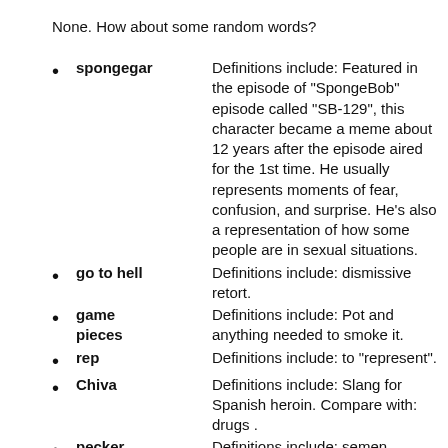None. How about some random words?
spongegar — Definitions include: Featured in the episode of "SpongeBob" episode called "SB-129", this character became a meme about 12 years after the episode aired for the 1st time. He usually represents moments of fear, confusion, and surprise. He's also a representation of how some people are in sexual situations.
go to hell — Definitions include: dismissive retort.
game pieces — Definitions include: Pot and anything needed to smoke it.
rep — Definitions include: to "represent".
Chiva — Definitions include: Slang for Spanish heroin. Compare with: drugs .
pecker tracks — Definitions include: semen.
shiznik — Definitions include: variant of "the shit", i.e. cool; awesome.
five finger — Definitions include: a pretend occurrence